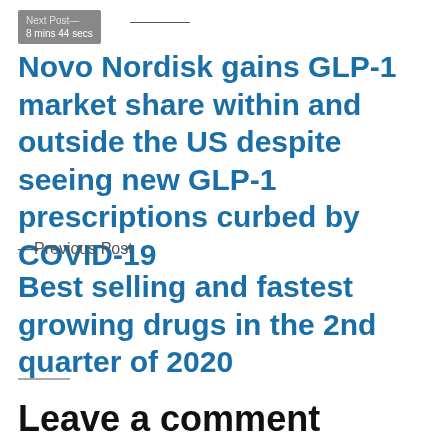Next Post — 8 mins 44 secs
Novo Nordisk gains GLP-1 market share within and outside the US despite seeing new GLP-1 prescriptions curbed by COVID-19
—Previous Post
Best selling and fastest growing drugs in the 2nd quarter of 2020
Leave a comment